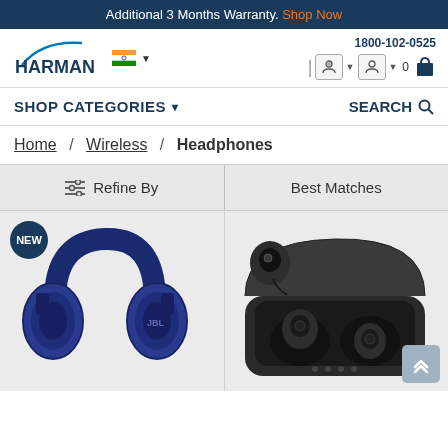Additional 3 Months Warranty. Shop Now
[Figure (logo): HARMAN logo with India flag and dropdown]
1800-102-0525
SHOP CATEGORIES ▾
SEARCH 🔍
Home / Wireless / Headphones
≡ Refine By
Best Matches
[Figure (photo): Blue JBL over-ear wireless headphones with NEW badge]
[Figure (photo): Black true wireless earbuds in open charging case]